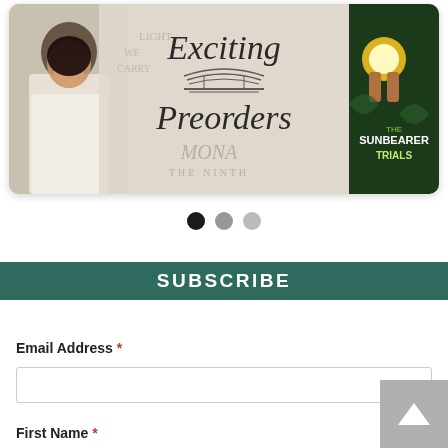[Figure (screenshot): Banner image showing 'Exciting Preorders' text with book covers including a woman, 'Mona the Ninth', and 'The Sunbearer Trials' on a light beige background.]
● ● ●  (carousel dots)
SUBSCRIBE
Email Address *
First Name *